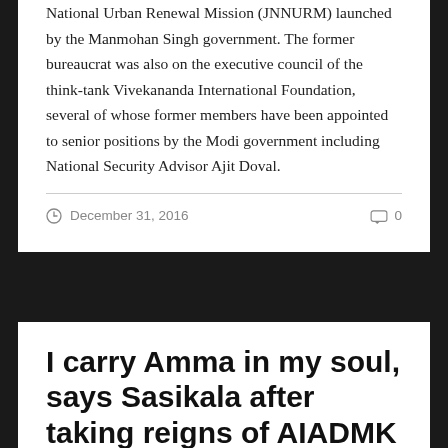National Urban Renewal Mission (JNNURM) launched by the Manmohan Singh government. The former bureaucrat was also on the executive council of the think-tank Vivekananda International Foundation, several of whose former members have been appointed to senior positions by the Modi government including National Security Advisor Ajit Doval.
December 31, 2016   0
I carry Amma in my soul, says Sasikala after taking reigns of AIADMK